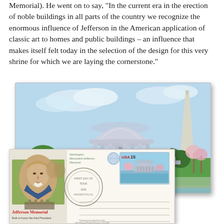Memorial). He went on to say, "In the current era in the erection of noble buildings in all parts of the country we recognize the enormous influence of Jefferson in the American application of classic art to homes and public buildings – an influence that makes itself felt today in the selection of the design for this very shrine for which we are laying the cornerstone."
[Figure (illustration): Illustration of the Jefferson Memorial with dome and columns, Washington Monument visible in background, trees and green lawn in foreground]
[Figure (illustration): First Day Cover postcard featuring Jefferson Memorial stamp (USA 15 cents), postmark, portrait of Thomas Jefferson, text 'Jefferson Memorial Built to honor the third President']